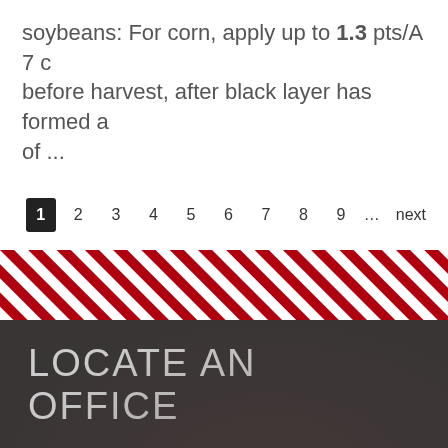soybeans:  For corn, apply up to 1.3 pts/A 7 d before harvest, after black layer has formed a of ...
1  2  3  4  5  6  7  8  9  ...  next
[Figure (other): Diagonal red and white stripe decorative divider band]
LOCATE AN OFFICE
We connect with people in all stages of life, from young children to older adults. We work with families and children, farmers and businessowners,